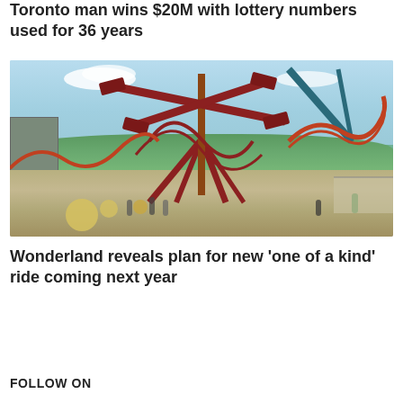Toronto man wins $20M with lottery numbers used for 36 years
[Figure (illustration): Illustrated concept art of a theme park showing a large spinning ride with an X-shaped top mounted on tall red metal supports, with roller coasters visible in the background, green trees, a crowd of visitors, and a building on the left side.]
Wonderland reveals plan for new 'one of a kind' ride coming next year
FOLLOW ON